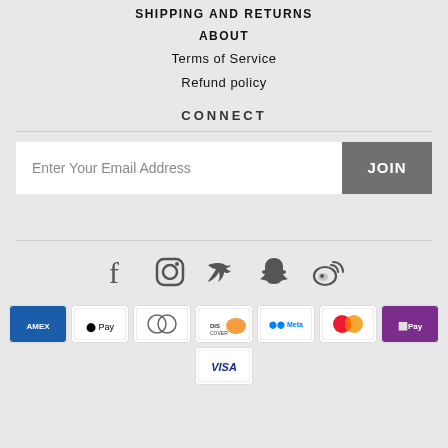SHIPPING AND RETURNS
ABOUT
Terms of Service
Refund policy
CONNECT
Enter Your Email Address | JOIN
[Figure (infographic): Social media icons: Facebook, Instagram, Twitter, Snapchat, Weibo]
[Figure (infographic): Payment method icons: AMEX, Apple Pay, Diners Club, Discover, Meta Pay, Mastercard, OPay, Visa]